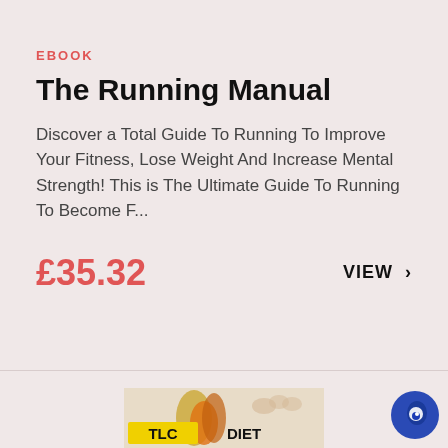EBOOK
The Running Manual
Discover a Total Guide To Running To Improve Your Fitness, Lose Weight And Increase Mental Strength! This is The Ultimate Guide To Running To Become F...
£35.32
VIEW >
[Figure (photo): Book cover for TLC Diet product showing flames and the text TLC DIET]